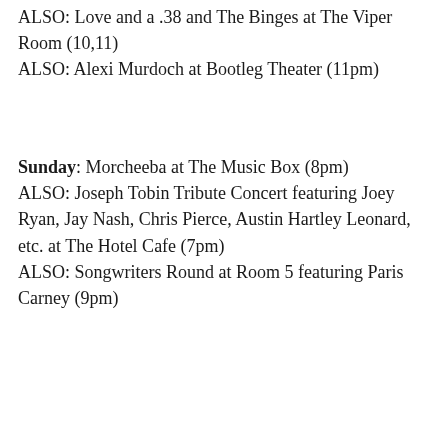ALSO: Love and a .38 and The Binges at The Viper Room (10,11)
ALSO: Alexi Murdoch at Bootleg Theater (11pm)
Sunday: Morcheeba at The Music Box (8pm)
ALSO: Joseph Tobin Tribute Concert featuring Joey Ryan, Jay Nash, Chris Pierce, Austin Hartley Leonard, etc. at The Hotel Cafe (7pm)
ALSO: Songwriters Round at Room 5 featuring Paris Carney (9pm)